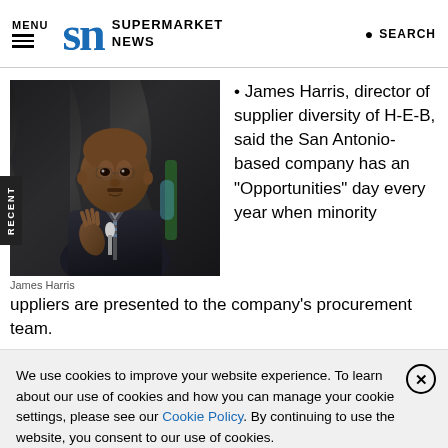MENU | SN SUPERMARKET NEWS | SEARCH
[Figure (photo): Photo of James Harris speaking at a podium with a microphone]
James Harris
James Harris, director of supplier diversity of H-E-B, said the San Antonio-based company has an “Opportunities” day every year when minority suppliers are presented to the company’s procurement team.
We use cookies to improve your website experience. To learn about our use of cookies and how you can manage your cookie settings, please see our Cookie Policy. By continuing to use the website, you consent to our use of cookies.